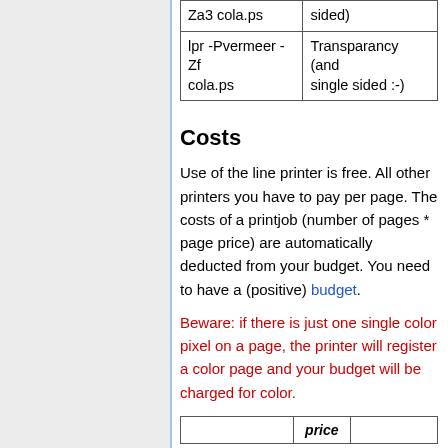| Command | Description |
| --- | --- |
| Za3 cola.ps | sided) |
| lpr -Pvermeer -Zf cola.ps | Transparancy (and single sided :-) |
Costs
Use of the line printer is free. All other printers you have to pay per page. The costs of a printjob (number of pages * page price) are automatically deducted from your budget. You need to have a (positive) budget.
Beware: if there is just one single color pixel on a page, the printer will register a color page and your budget will be charged for color.
|  | price |  |
| --- | --- | --- |